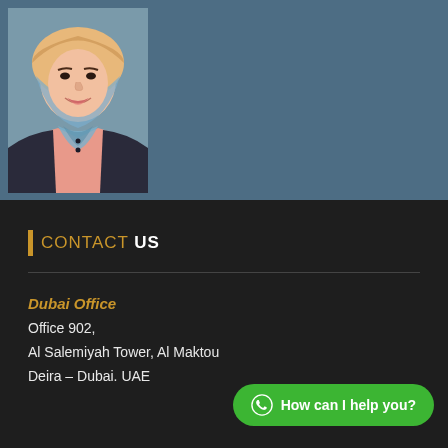[Figure (photo): Portrait photo of a woman wearing a hijab and pink top with dark jacket, smiling, against a blue-grey background]
CONTACT US
Dubai Office
Office 902,
Al Salemiyah Tower, Al Maktou
Deira – Dubai. UAE
How can I help you?